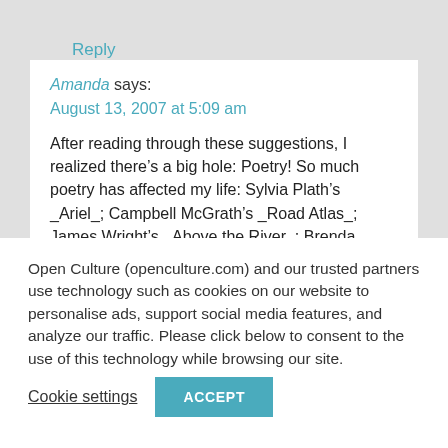Reply
Amanda says:
August 13, 2007 at 5:09 am
After reading through these suggestions, I realized there’s a big hole: Poetry! So much poetry has affected my life: Sylvia Plath’s _Ariel_; Campbell McGrath’s _Road Atlas_; James Wright’s _Above the River_; Brenda
Open Culture (openculture.com) and our trusted partners use technology such as cookies on our website to personalise ads, support social media features, and analyze our traffic. Please click below to consent to the use of this technology while browsing our site.
Cookie settings
ACCEPT